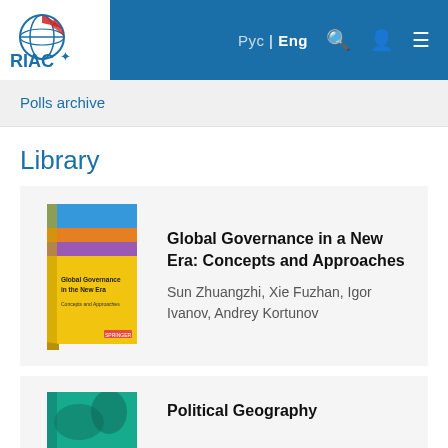[Figure (logo): RIAC globe logo with white and red globe icon and RIAC text]
Рус | Eng
Polls archive
Library
[Figure (photo): Book cover: Global Governance in the New Era - yellow and colorful abstract cover]
Global Governance in a New Era: Concepts and Approaches
Sun Zhuangzhi, Xie Fuzhan, Igor Ivanov, Andrey Kortunov
[Figure (photo): Book cover: Political Geography - teal/blue world map cover]
Political Geography